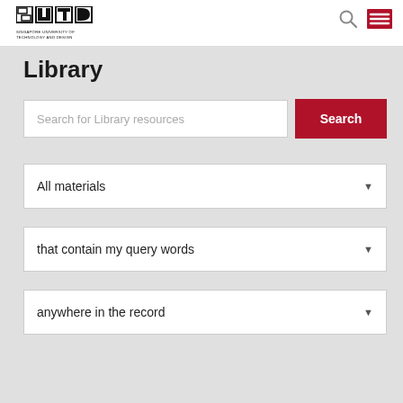[Figure (logo): SUTD Singapore University of Technology and Design logo — black geometric lettermark with university name below]
Library
Search for Library resources
Search
All materials
that contain my query words
anywhere in the record